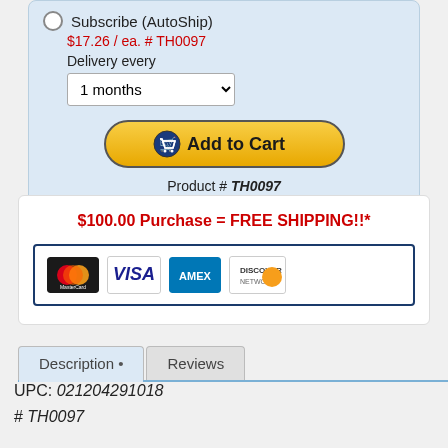Subscribe (AutoShip)
$17.26 / ea. # TH0097
Delivery every
1 months
[Figure (other): Add to Cart button with shopping cart icon, gold/yellow gradient rounded button]
Product # TH0097
$100.00 Purchase = FREE SHIPPING!!*
[Figure (other): Payment method logos: MasterCard, Visa, AMEX, Discover]
Description • Reviews (tab navigation)
UPC: 021204291018
# TH0097